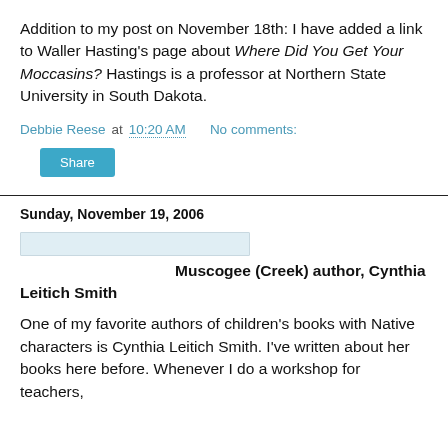Addition to my post on November 18th: I have added a link to Waller Hasting's page about Where Did You Get Your Moccasins? Hastings is a professor at Northern State University in South Dakota.
Debbie Reese at 10:20 AM   No comments:
Share
Sunday, November 19, 2006
[Figure (other): Small rectangular image placeholder (light blue/gray)]
Muscogee (Creek) author, Cynthia Leitich Smith
One of my favorite authors of children's books with Native characters is Cynthia Leitich Smith. I've written about her books here before. Whenever I do a workshop for teachers,